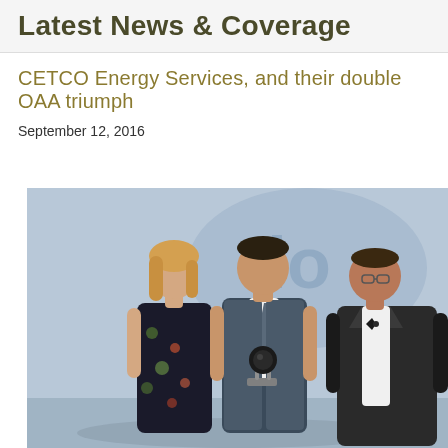Latest News & Coverage
CETCO Energy Services, and their double OAA triumph
September 12, 2016
[Figure (photo): Three people posing at an awards ceremony. A woman with blonde hair in a floral black dress stands on the left, a man in a vest with a tie holds a trophy in the center, and a man in a tuxedo stands on the right. A logo is visible in the blue background.]